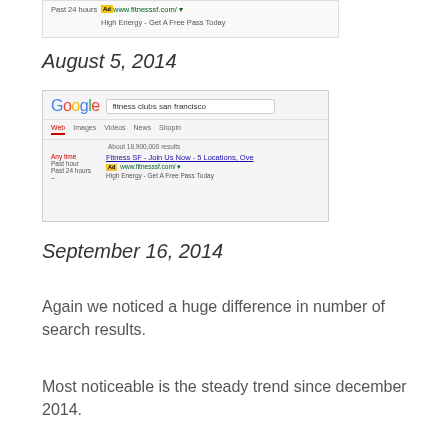[Figure (screenshot): Partial Google search result screenshot showing clipped top portion with Past 24 hours filter, Ad badge, www.fitnesssf.com/ URL, and High Energy - Get A Free Pass Today tagline]
August 5, 2014
[Figure (screenshot): Google search results screenshot for 'fitness clubs san francisco' showing Web/Images/Videos/News/Shopin tabs, about 18,900,000 results, with Fitness SF - Join Us Now - 5 Locations, Ove ad result showing www.fitnesssf.com/ and High Energy - Get A Free Pass Today]
September 16, 2014
Again we noticed a huge difference in number of search results.
Most noticeable is the steady trend since december 2014.